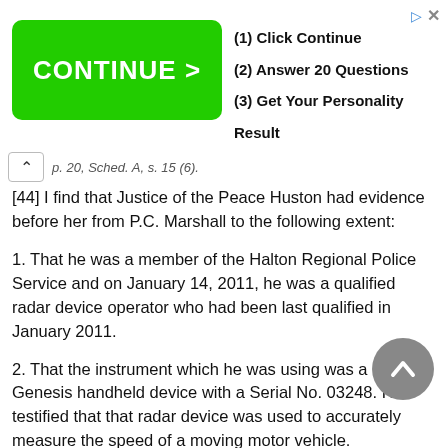[Figure (screenshot): Advertisement banner with green CONTINUE > button and steps: (1) Click Continue, (2) Answer 20 Questions, (3) Get Your Personality Result]
p. 20, Sched. A, s. 15 (6).
[44] I find that Justice of the Peace Huston had evidence before her from P.C. Marshall to the following extent:
1. That he was a member of the Halton Regional Police Service and on January 14, 2011, he was a qualified radar device operator who had been last qualified in January 2011.
2. That the instrument which he was using was a Decater Genesis handheld device with a Serial No. 03248. He testified that that radar device was used to accurately measure the speed of a moving motor vehicle.
3. That he had tested this radar device before using it on Mr. Gagotek's vehicle at 11:45 a.m. and that he had